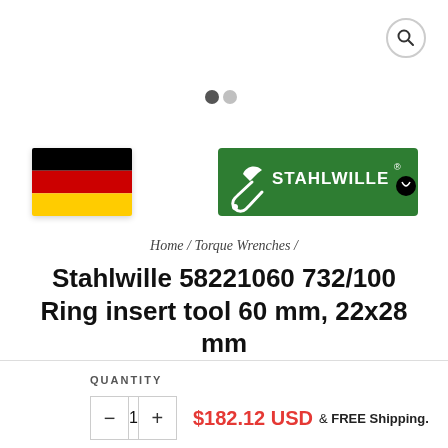[Figure (other): Search icon (magnifying glass) in top right corner]
[Figure (other): Two dot carousel indicators, one dark one grey]
[Figure (other): German flag (black, red, yellow horizontal stripes)]
[Figure (logo): Stahlwille logo on green background with wrench icon]
Home / Torque Wrenches /
Stahlwille 58221060 732/100 Ring insert tool 60 mm, 22x28 mm
QUANTITY
- 1 + $182.12 USD & FREE Shipping.